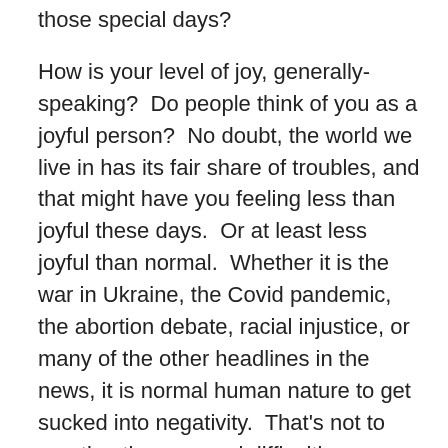those special days?
How is your level of joy, generally-speaking?  Do people think of you as a joyful person?  No doubt, the world we live in has its fair share of troubles, and that might have you feeling less than joyful these days.  Or at least less joyful than normal.  Whether it is the war in Ukraine, the Covid pandemic, the abortion debate, racial injustice, or many of the other headlines in the news, it is normal human nature to get sucked into negativity.  That's not to mention the very real difficulties you might be facing in your own lives.  Broken relationships, financial instability, health concerns, you name it.  What is the source of pain and loss in your life?  Has life affected your joy?
When Clint Watkins was our guest blogger recently, his posts (starting here) resonated with many people because